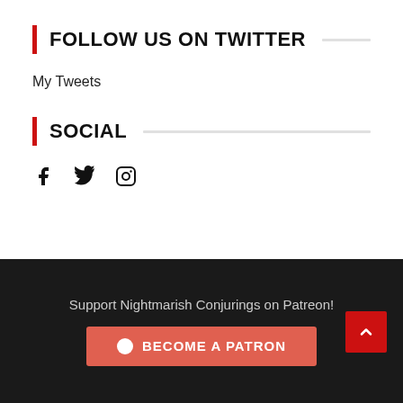FOLLOW US ON TWITTER
My Tweets
SOCIAL
[Figure (infographic): Social media icons: Facebook, Twitter, Instagram]
Support Nightmarish Conjurings on Patreon!
BECOME A PATRON